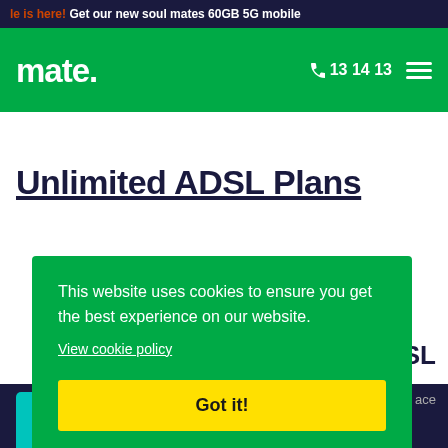le is here! Get our new soul mates 60GB 5G mobile
[Figure (logo): mate. logo in white on green navigation bar with phone number 13 14 13 and hamburger menu icon]
Unlimited ADSL Plans
This website uses cookies to ensure you get the best experience on our website.
View cookie policy
Got it!
DSL
ace
enquiries